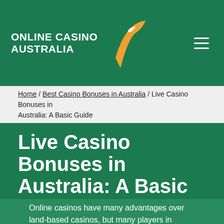ONLINE CASINO AUSTRALIA
Home / Best Casino Bonuses in Australia / Live Casino Bonuses in Australia: A Basic Guide
Live Casino Bonuses in Australia: A Basic Guide
Online casinos have many advantages over land-based casinos, but many players in Australia argue that Internet-based casino sites don't provide excitement and atmosphere found in their physical counterparts. That's